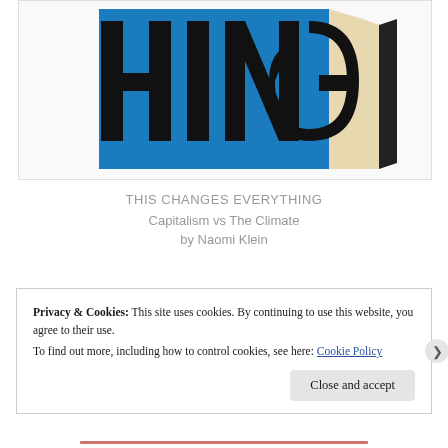[Figure (photo): Book cover of 'This Changes Everything: Capitalism vs The Climate' by Naomi Klein. A thick book with a bright blue cover showing large black letters 'HING' (partial text), photographed at an angle showing the spine and pages.]
THIS CHANGES EVERYTHING
Capitalism vs The Climate
by Naomi Klein
Privacy & Cookies: This site uses cookies. By continuing to use this website, you agree to their use.
To find out more, including how to control cookies, see here: Cookie Policy